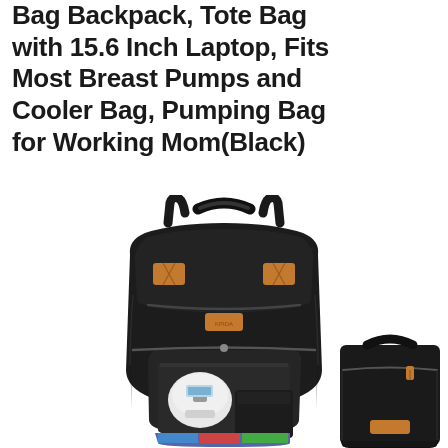Bag Backpack, Tote Bag with 15.6 Inch Laptop, Fits Most Breast Pumps and Cooler Bag, Pumping Bag for Working Mom(Black)
[Figure (photo): Product photo showing a black breast pump backpack with tan/brown leather accents open at the bottom compartment revealing a breast pump and accessories, alongside a separate small black insulated cooler bag with tan zipper pulls, all on white background.]